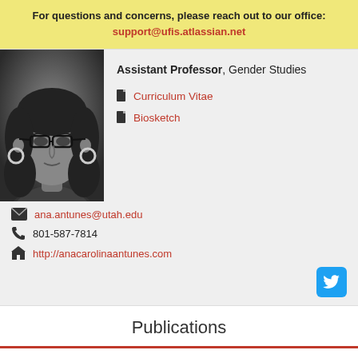For questions and concerns, please reach out to our office: support@ufis.atlassian.net
[Figure (photo): Black and white headshot photo of a woman with glasses and large hoop earrings]
Assistant Professor, Gender Studies
Curriculum Vitae
Biosketch
ana.antunes@utah.edu
801-587-7814
http://anacarolinaantunes.com
Publications